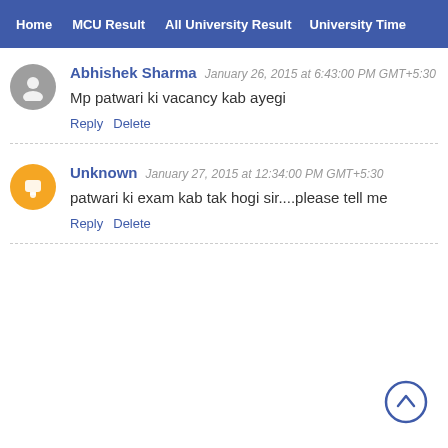Home | MCU Result | All University Result | University Time
Abhishek Sharma  January 26, 2015 at 6:43:00 PM GMT+5:30
Mp patwari ki vacancy kab ayegi
Reply  Delete
Unknown  January 27, 2015 at 12:34:00 PM GMT+5:30
patwari ki exam kab tak hogi sir....please tell me
Reply  Delete